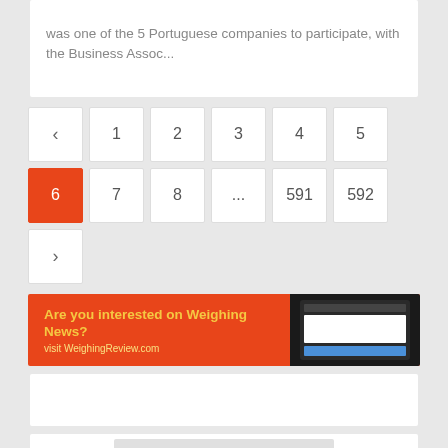was one of the 5 Portuguese companies to participate, with the Business Assoc...
< 1 2 3 4 5 6 7 8 ... 591 592 >
[Figure (infographic): Orange advertisement banner: 'Are you interested on Weighing News? visit WeighingReview.com' with a laptop/screen mockup on the right showing the WeighingReview website.]
[Figure (illustration): Gear/cog illustration with a large yellow gear and a smaller red gear interlocking, on a light grey background.]